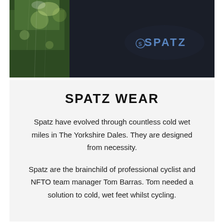[Figure (photo): Dark moody photo of a cycling helmet or disc wheel with the SPATZ logo (blue lettering) visible, with green foliage and water droplets/bokeh in the background.]
SPATZ WEAR
Spatz have evolved through countless cold wet miles in The Yorkshire Dales. They are designed from necessity.
Spatz are the brainchild of professional cyclist and NFTO team manager Tom Barras. Tom needed a solution to cold, wet feet whilst cycling.